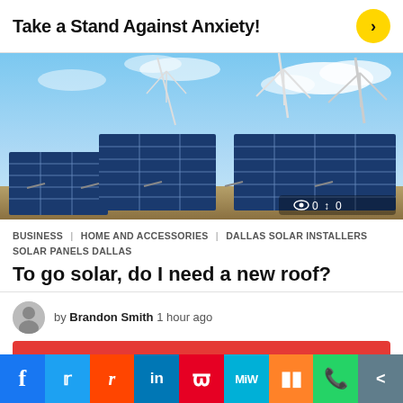Take a Stand Against Anxiety!
[Figure (photo): Solar panels in a field with wind turbines in the background under a blue sky with clouds. Stats overlay: eye icon 0, share icon 0.]
BUSINESS   HOME AND ACCESSORIES   DALLAS SOLAR INSTALLERS   SOLAR PANELS DALLAS
To go solar, do I need a new roof?
by Brandon Smith  1 hour ago
[Figure (other): Social share bar with Facebook, Twitter, Reddit, LinkedIn, Pinterest, MeWe, Mix, WhatsApp, and generic share buttons]